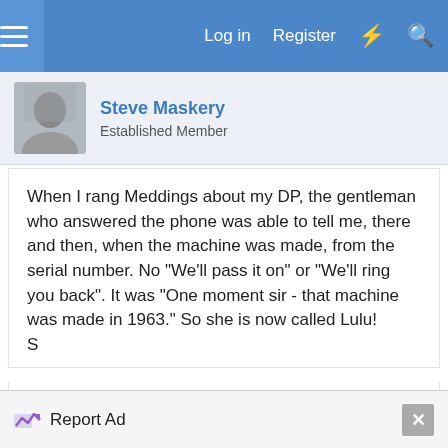Log in  Register
Steve Maskery
Established Member
When I rang Meddings about my DP, the gentleman who answered the phone was able to tell me, there and then, when the machine was made, from the serial number. No "We'll pass it on" or "We'll ring you back". It was "One moment sir - that machine was made in 1963." So she is now called Lulu!
S
Reply
6 Oct 2011  #8
Report Ad